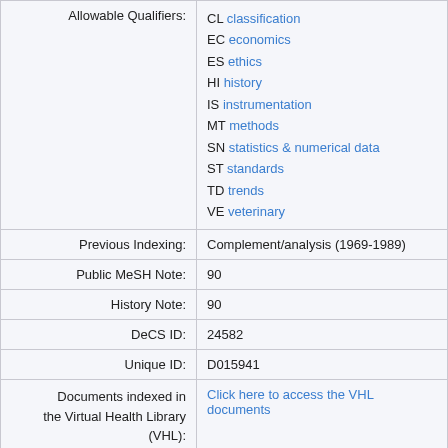| Field | Value |
| --- | --- |
| Allowable Qualifiers: | CL classification
EC economics
ES ethics
HI history
IS instrumentation
MT methods
SN statistics & numerical data
ST standards
TD trends
VE veterinary |
| Previous Indexing: | Complement/analysis (1969-1989) |
| Public MeSH Note: | 90 |
| History Note: | 90 |
| DeCS ID: | 24582 |
| Unique ID: | D015941 |
| Documents indexed in the Virtual Health Library (VHL): | Click here to access the VHL documents |
| Date Established: | 1990/01/01 |
| Date of Entry: | 1989/05/25 |